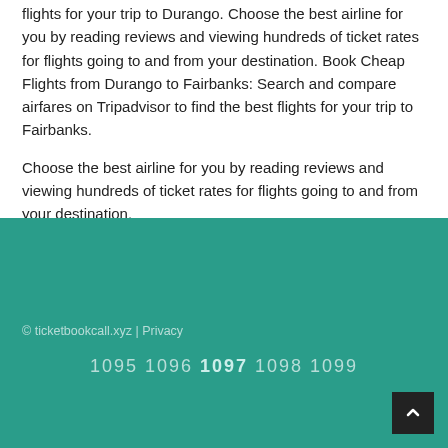flights for your trip to Durango. Choose the best airline for you by reading reviews and viewing hundreds of ticket rates for flights going to and from your destination. Book Cheap Flights from Durango to Fairbanks: Search and compare airfares on Tripadvisor to find the best flights for your trip to Fairbanks.
Choose the best airline for you by reading reviews and viewing hundreds of ticket rates for flights going to and from your destination.
© ticketbookcall.xyz | Privacy
1095 1096 1097 1098 1099